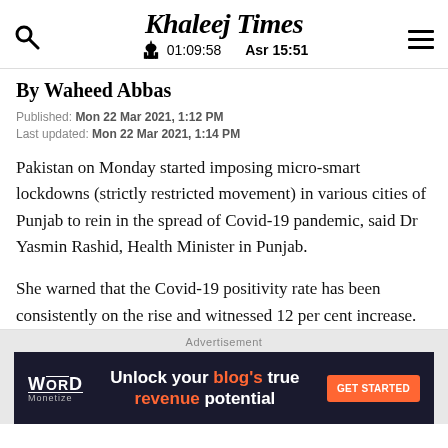Khaleej Times — 01:09:58  Asr 15:51
By Waheed Abbas
Published: Mon 22 Mar 2021, 1:12 PM
Last updated: Mon 22 Mar 2021, 1:14 PM
Pakistan on Monday started imposing micro-smart lockdowns (strictly restricted movement) in various cities of Punjab to rein in the spread of Covid-19 pandemic, said Dr Yasmin Rashid, Health Minister in Punjab.
She warned that the Covid-19 positivity rate has been consistently on the rise and witnessed 12 per cent increase.
[Figure (other): Word Monetize advertisement banner: Unlock your blog's true revenue potential — GET STARTED]